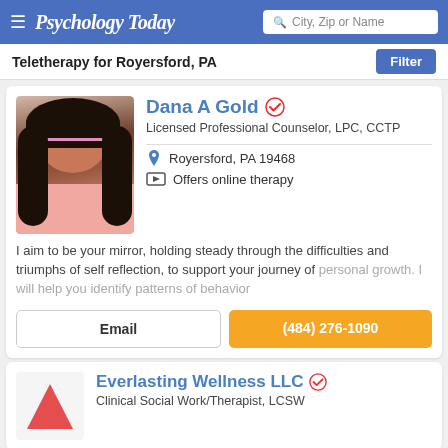Psychology Today — City, Zip or Name search
Teletherapy for Royersford, PA
Dana A Gold
Licensed Professional Counselor, LPC, CCTP
Royersford, PA 19468
Offers online therapy
I aim to be your mirror, holding steady through the difficulties and triumphs of self reflection, to support your journey of personal growth. I will help you identify patterns of behavior
Email
(484) 276-1090
Everlasting Wellness LLC
Clinical Social Work/Therapist, LCSW